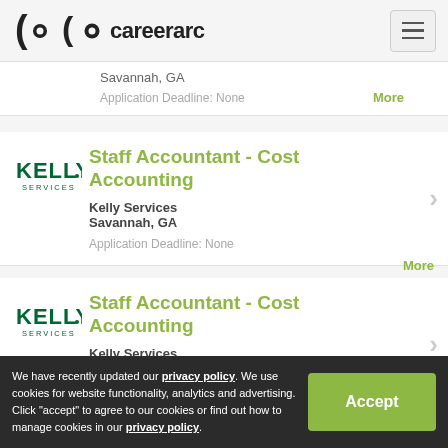careerarc
Savannah, GA
Application Deadline: None
More
Staff Accountant - Cost Accounting
Kelly Services
Savannah, GA
Application Deadline: None
More
Staff Accountant - Cost Accounting
Kelly Services
Savannah, GA
Application Deadline: None
We have recently updated our privacy policy. We use cookies for website functionality, analytics and advertising. Click "accept" to agree to our cookies or find out how to manage cookies in our privacy policy.
Accept